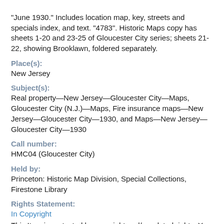"June 1930." Includes location map, key, streets and specials index, and text. "4783". Historic Maps copy has sheets 1-20 and 23-25 of Gloucester City series; sheets 21-22, showing Brooklawn, foldered separately.
Place(s):
New Jersey
Subject(s):
Real property—New Jersey—Gloucester City—Maps, Gloucester City (N.J.)—Maps, Fire insurance maps—New Jersey—Gloucester City—1930, and Maps—New Jersey—Gloucester City—1930
Call number:
HMC04 (Gloucester City)
Held by:
Princeton: Historic Map Division, Special Collections, Firestone Library
Rights Statement:
In Copyright
This Item is protected by copyright and/or related rights. You are free to use this Item in any way that is permitted by the copyright and related rights legislation that applies to your use.